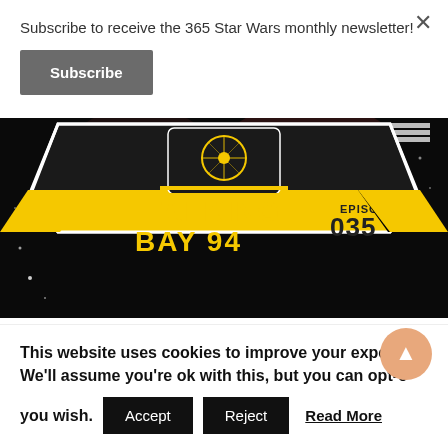Subscribe to receive the 365 Star Wars monthly newsletter!
Subscribe
[Figure (illustration): Talking Bay 94 podcast logo on black background with yellow badge showing 'TALKING BAY 94' text and 'EPISODE 035']
Social:
Talking Bay 94
This website uses cookies to improve your experience. We'll assume you're ok with this, but you can opt-out if you wish.
Accept
Reject
Read More